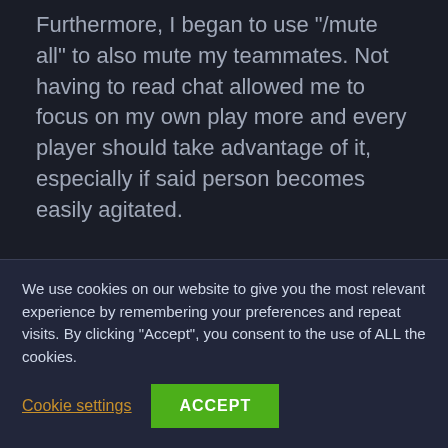Furthermore, I began to use "/mute all" to also mute my teammates. Not having to read chat allowed me to focus on my own play more and every player should take advantage of it, especially if said person becomes easily agitated.
Warding Early Saves
...
We use cookies on our website to give you the most relevant experience by remembering your preferences and repeat visits. By clicking "Accept", you consent to the use of ALL the cookies.
Cookie settings | ACCEPT